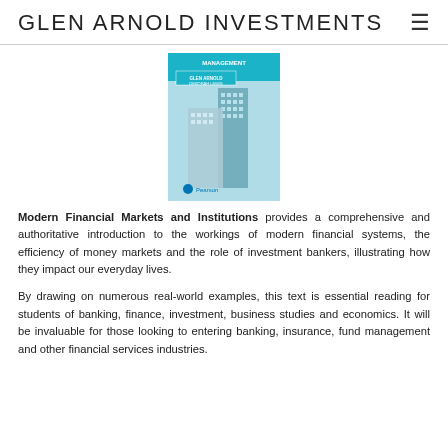GLEN ARNOLD INVESTMENTS
[Figure (photo): Book cover of 'Modern Financial Markets and Institutions Management' by Glen Arnold and Deborah Lewis, published by Pearson, featuring a cover image of skyscrapers.]
Modern Financial Markets and Institutions provides a comprehensive and authoritative introduction to the workings of modern financial systems, the efficiency of money markets and the role of investment bankers, illustrating how they impact our everyday lives.
By drawing on numerous real-world examples, this text is essential reading for students of banking, finance, investment, business studies and economics. It will be invaluable for those looking to entering banking, insurance, fund management and other financial services industries.